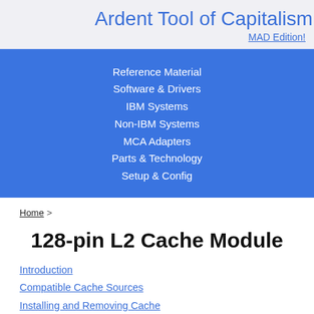Ardent Tool of Capitalism
MAD Edition!
Reference Material
Software & Drivers
IBM Systems
Non-IBM Systems
MCA Adapters
Parts & Technology
Setup & Config
Home >
128-pin L2 Cache Module
Introduction
Compatible Cache Sources
Installing and Removing Cache
L2 Cache Module Types